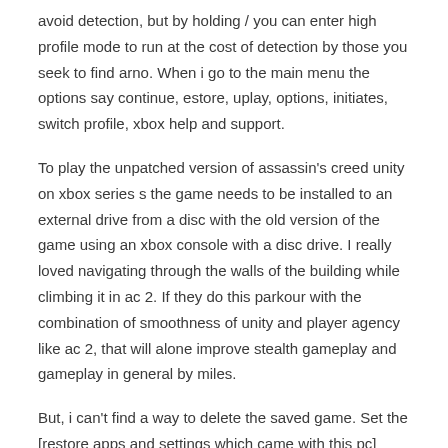avoid detection, but by holding / you can enter high profile mode to run at the cost of detection by those you seek to find arno. When i go to the main menu the options say continue, estore, uplay, options, initiates, switch profile, xbox help and support.
To play the unpatched version of assassin's creed unity on xbox series s the game needs to be installed to an external drive from a disc with the old version of the game using an xbox console with a disc drive. I really loved navigating through the walls of the building while climbing it in ac 2. If they do this parkour with the combination of smoothness of unity and player agency like ac 2, that will alone improve stealth gameplay and gameplay in general by miles.
But, i can't find a way to delete the saved game. Set the [restore apps and settings which came with this pc] option as yes ⑦, then. In the others assassin's creed, i can create a new character and join new game. [close icon]